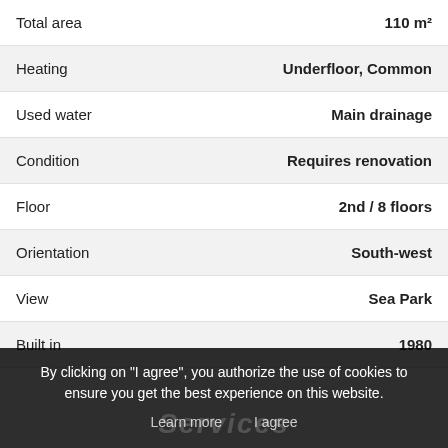| Property | Value |
| --- | --- |
| Total area | 110 m² |
| Heating | Underfloor, Common |
| Used water | Main drainage |
| Condition | Requires renovation |
| Floor | 2nd / 8 floors |
| Orientation | South-west |
| View | Sea Park |
| Built in | 1980 |
By clicking on "I agree", you authorize the use of cookies to ensure you get the best experience on this website.
Learn more   I agree